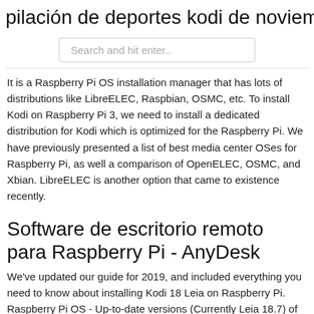pilación de deportes kodi de noviemb
Search and hit enter..
It is a Raspberry Pi OS installation manager that has lots of distributions like LibreELEC, Raspbian, OSMC, etc. To install Kodi on Raspberry Pi 3, we need to install a dedicated distribution for Kodi which is optimized for the Raspberry Pi. We have previously presented a list of best media center OSes for Raspberry Pi, as well a comparison of OpenELEC, OSMC, and Xbian. LibreELEC is another option that came to existence recently.
Software de escritorio remoto para Raspberry Pi - AnyDesk
We've updated our guide for 2019, and included everything you need to know about installing Kodi 18 Leia on Raspberry Pi. Raspberry Pi OS - Up-to-date versions (Currently Leia 18.7) of Kodi are now on the default Raspbian repositories. For installs that don't directly include and/or boot into Kodi automatically. 2.1 Raspberry Pi OS. Editor note: We need to